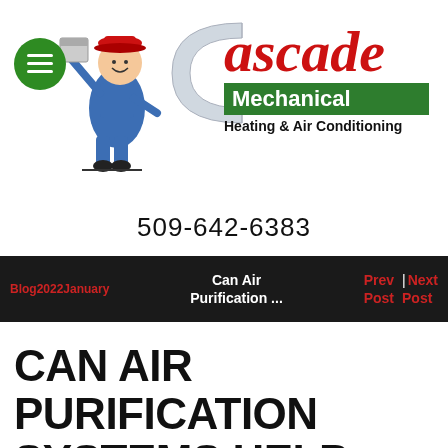[Figure (logo): Cascade Mechanical Heating & Air Conditioning logo with technician figure, large C letter, red script Cascade text, green Mechanical banner, and heating subtext]
509-642-6383
Blog2022January | Can Air Purification ... | Prev Post | Next Post
CAN AIR PURIFICATION SYSTEMS HELP PREVENT WINTER